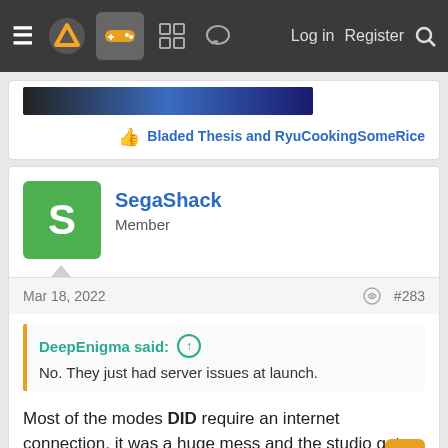≡ [logo] [gamepad icon] [grid icon] [chat icon]  Log in  Register  🔍
Bladed Thesis and RyuCookingSomeRice
SegaShack
Member
Mar 18, 2022  #283
DeepEnigma said: ↑
No. They just had server issues at launch.
Most of the modes DID require an internet connection, it was a huge mess and the studio got shut down afterwards. This is the same situation.